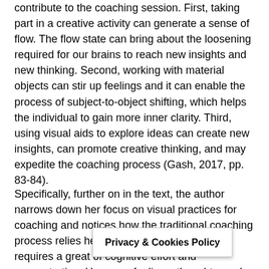contribute to the coaching session. First, taking part in a creative activity can generate a sense of flow. The flow state can bring about the loosening required for our brains to reach new insights and new thinking. Second, working with material objects can stir up feelings and it can enable the process of subject-to-object shifting, which helps the individual to gain more inner clarity. Third, using visual aids to explore ideas can create new insights, can promote creative thinking, and may expedite the coaching process (Gash, 2017, pp. 83-84).
Specifically, further on in the text, the author narrows down her focus on visual practices for coaching and notices how the traditional coaching process relies heavily on verbalization which requires a great of cognitive effort and concentration. However, feelings, thoughts, and insights can be accessed by the person and communicated to [language too, implying that using vi[pressing
Privacy & Cookies Policy